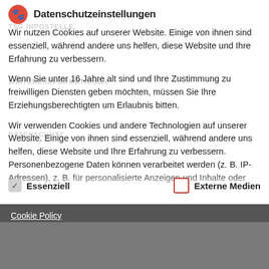Datenschutzeinstellungen
Wir nutzen Cookies auf unserer Website. Einige von ihnen sind essenziell, während andere uns helfen, diese Website und Ihre Erfahrung zu verbessern.
Wenn Sie unter 16 Jahre alt sind und Ihre Zustimmung zu freiwilligen Diensten geben möchten, müssen Sie Ihre Erziehungsberechtigten um Erlaubnis bitten.
Wir verwenden Cookies und andere Technologien auf unserer Website. Einige von ihnen sind essenziell, während andere uns helfen, diese Website und Ihre Erfahrung zu verbessern. Personenbezogene Daten können verarbeitet werden (z. B. IP-Adressen), z. B. für personalisierte Anzeigen und Inhalte oder
Essenziell
Externe Medien
Cookie Policy